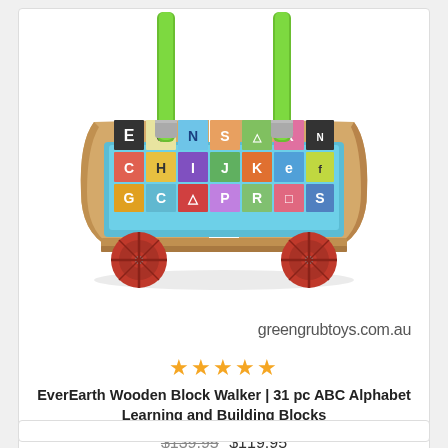[Figure (photo): EverEarth Wooden Block Walker toy with red wheels, light wood body, blue tray holding colorful ABC alphabet blocks, and green handle bars. Photographed on white background.]
greengrubtoys.com.au
★★★★★
EverEarth Wooden Block Walker | 31 pc ABC Alphabet Learning and Building Blocks
$139.95  $119.95